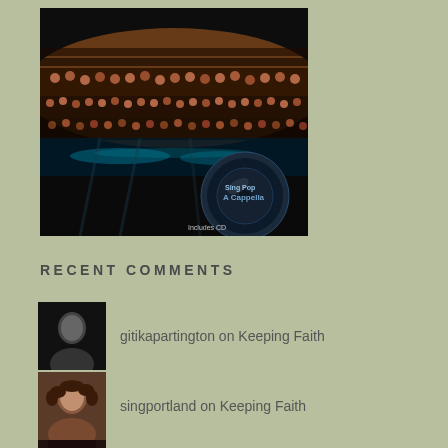[Figure (photo): Book cover image showing a large choir on stage with a 'Sing Pop A Cappella' CD overlay in the lower right corner. Text reads 'Includes CD'.]
RECENT COMMENTS
gitikapartington on Keeping Faith
singportland on Keeping Faith
m32011 on My Umeboshi Plums -7 years Lat…
Claire Allaway on NOT YET